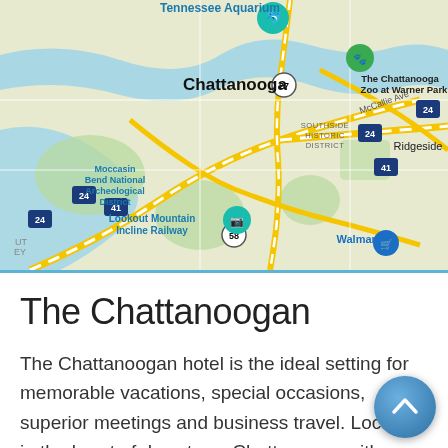[Figure (map): Google Maps screenshot showing Chattanooga, TN area with landmarks: Tennessee Aquarium (top center), The Chattanooga Zoo at Warner Park (top right), Moccasin Bend National Archeological District (left), Southside Historic District (center), Lookout Mountain Incline Railway (lower left), Ridgeside (right), Walmart (bottom right), with major roads including I-24, I-41, Route 27, Route 58, McCallie Ave.]
The Chattanoogan
The Chattanoogan hotel is the ideal setting for memorable vacations, special occasions, superior meetings and business travel. Located in the heart of downtown Chattanooga with spectacular views of Lookout Mountain, the upscale hotel has 198...